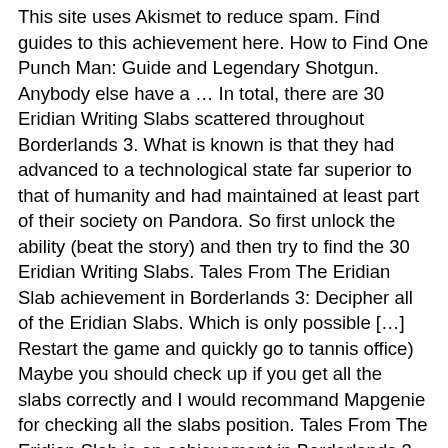This site uses Akismet to reduce spam. Find guides to this achievement here. How to Find One Punch Man: Guide and Legendary Shotgun. Anybody else have a … In total, there are 30 Eridian Writing Slabs scattered throughout Borderlands 3. What is known is that they had advanced to a technological state far superior to that of humanity and had maintained at least part of their society on Pandora. So first unlock the ability (beat the story) and then try to find the 30 Eridian Writing Slabs. Tales From The Eridian Slab achievement in Borderlands 3: Decipher all of the Eridian Slabs. Which is only possible […] Restart the game and quickly go to tannis office) Maybe you should check up if you get all the slabs correctly and I would recommand Mapgenie for checking all the slabs position. Tales From The Eridian Slab is an achievement in Borderlands 3. mercenaryntx (mercenary1) September 20, 2019, 11:11am #1. Throughout your journey in Borderlands 3 you will discover small slabs of Eridian Writing in the locations you visit. There are 30 Eridian Writing Slabs locations, find all of them to unlock the Tales From The Eridian Slab trophy or achievement.